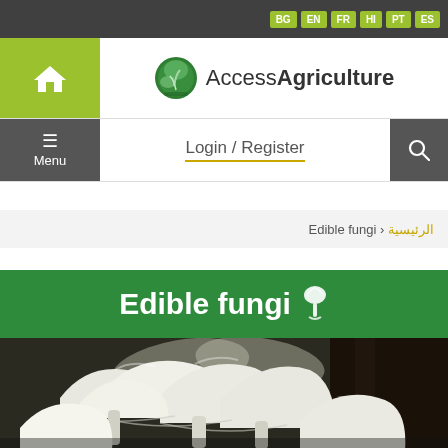BG EN FR HI PT ES
[Figure (logo): AccessAgriculture logo with green globe icon and home icon]
Login / Register
الرئيسية › Edible fungi
Edible fungi
[Figure (photo): Close-up photo of white oyster mushrooms growing on dark substrate]